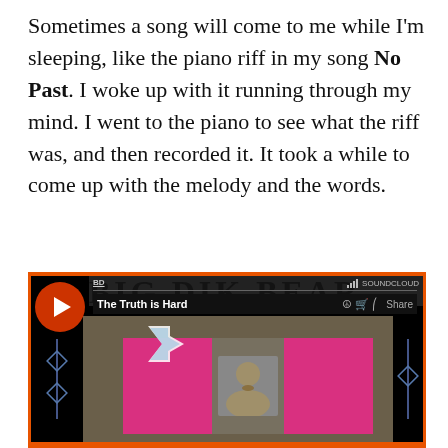Sometimes a song will come to me while I'm sleeping, like the piano riff in my song No Past. I woke up with it running through my mind. I went to the piano to see what the riff was, and then recorded it. It took a while to come up with the melody and the words.
[Figure (screenshot): SoundCloud embedded player screenshot showing 'The Truth is Hard' track by Big Dik Bear, with play button, track controls, share option, and a video thumbnail showing a man's photo flanked by pink panels.]